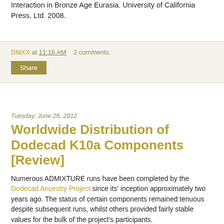Interaction in Bronze Age Eurasia. University of California Press, Ltd. 2008.
DMXX at 11:16 AM    2 comments:
Share
Tuesday, June 26, 2012
Worldwide Distribution of Dodecad K10a Components [Review]
Numerous ADMIXTURE runs have been completed by the Dodecad Ancestry Project since its' inception approximately two years ago. The status of certain components remained tenuous despite subsequent runs, whilst others provided fairly stable values for the bulk of the project's participants.
With the completion of the latest K10a run, I have composed a series of geographically accurate frequency maps with the intention of effectively presenting the trends that can be seen through the raw data.